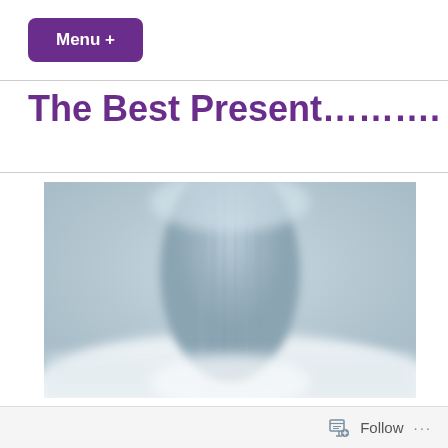Menu +
The Best Present.........
[Figure (photo): Close-up blurred photo of what appears to be a knitted or ribbed fabric item, possibly a mug or cup, in light blue/grey tones on white fabric background.]
Follow ...